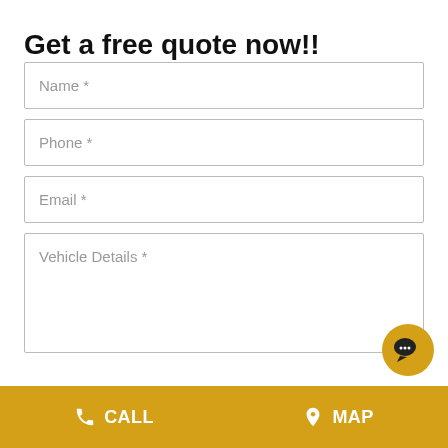Get a free quote now!!
Name *
Phone *
Email *
Vehicle Details *
[Figure (infographic): Yellow circular chat bubble icon with speech bubble and dots]
CALL  MAP